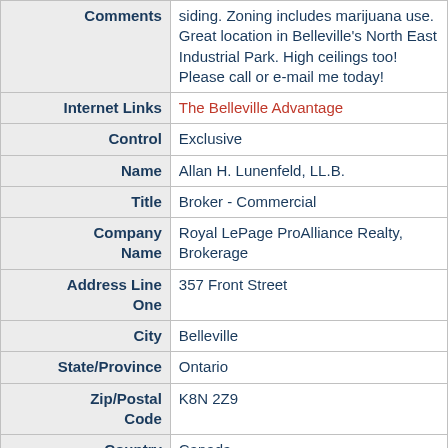| Field | Value |
| --- | --- |
| Comments | siding. Zoning includes marijuana use. Great location in Belleville's North East Industrial Park. High ceilings too! Please call or e-mail me today! |
| Internet Links | The Belleville Advantage |
| Control | Exclusive |
| Name | Allan H. Lunenfeld, LL.B. |
| Title | Broker - Commercial |
| Company Name | Royal LePage ProAlliance Realty, Brokerage |
| Address Line One | 357 Front Street |
| City | Belleville |
| State/Province | Ontario |
| Zip/Postal Code | K8N 2Z9 |
| Country | Canada |
| Business Phone Number | (613)966-6060 |
| FAX Number | (613) 966-2904 |
| Email Address | Send Email |